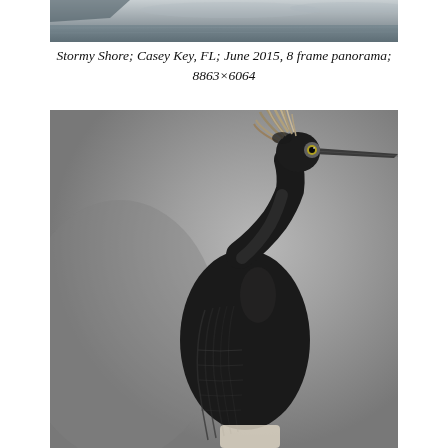[Figure (photo): Partial view of a stormy shoreline panorama photo, black and white, showing water and sky at the top of the page]
Stormy Shore; Casey Key, FL; June 2015, 8 frame panorama; 8863×6064
[Figure (photo): Black and white portrait photograph of an Anhinga bird with a prominent crest of feathers on its head, a long sharp beak pointed to the right, and detailed wing feather patterns visible. The bird is perched and shown from the side against a blurred gray background.]